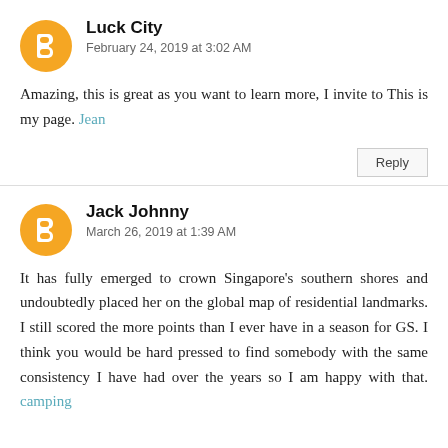Luck City
February 24, 2019 at 3:02 AM
Amazing, this is great as you want to learn more, I invite to This is my page. Jean
Reply
Jack Johnny
March 26, 2019 at 1:39 AM
It has fully emerged to crown Singapore's southern shores and undoubtedly placed her on the global map of residential landmarks. I still scored the more points than I ever have in a season for GS. I think you would be hard pressed to find somebody with the same consistency I have had over the years so I am happy with that. camping